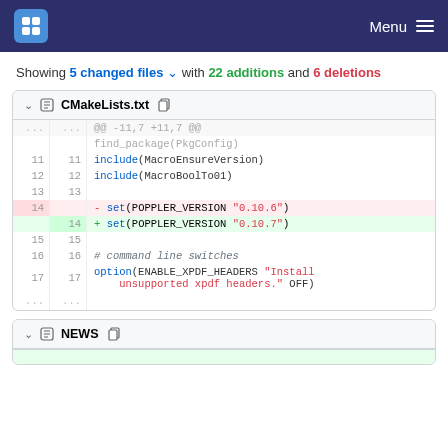Menu
Showing 5 changed files with 22 additions and 6 deletions
| old | new | code |
| --- | --- | --- |
| ... | ... | @@ -11,7 +11,7 @@ |
|  |  | find_package(PkgConfig) |
| 11 | 11 | include(MacroEnsureVersion) |
| 12 | 12 | include(MacroBoolTo01) |
| 13 | 13 |  |
| 14 |  | - set(POPPLER_VERSION "0.10.6") |
|  | 14 | + set(POPPLER_VERSION "0.10.7") |
| 15 | 15 |  |
| 16 | 16 | # command line switches |
| 17 | 17 | option(ENABLE_XPDF_HEADERS "Install unsupported xpdf headers." OFF) |
| ... | ... |  |
NEWS